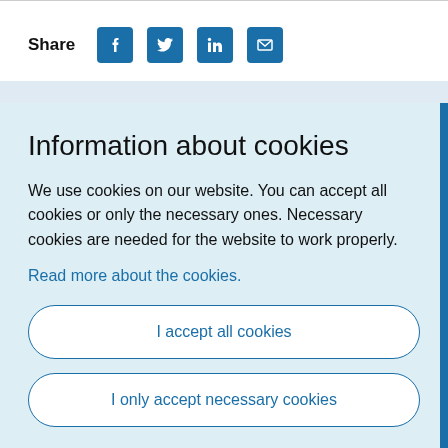Share
[Figure (infographic): Social share icons: Facebook, Twitter, LinkedIn, Email]
Information about cookies
We use cookies on our website. You can accept all cookies or only the necessary ones. Necessary cookies are needed for the website to work properly.
Read more about the cookies.
I accept all cookies
I only accept necessary cookies